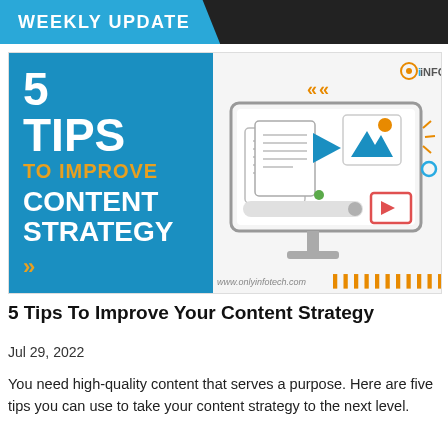WEEKLY UPDATE
[Figure (illustration): Infographic image split into two halves. Left half: blue background with white bold text '5 TIPS' and 'CONTENT STRATEGY', orange text 'TO IMPROVE', and orange double-arrow chevrons. Right half: white/light background with a monitor illustration showing content icons (documents, image, video play button), an orange double-chevron at top, and 'iNFOTECH' logo. Bottom right shows website URL 'www.onlyinfotech.com' and orange dots.]
5 Tips To Improve Your Content Strategy
Jul 29, 2022
You need high-quality content that serves a purpose. Here are five tips you can use to take your content strategy to the next level.